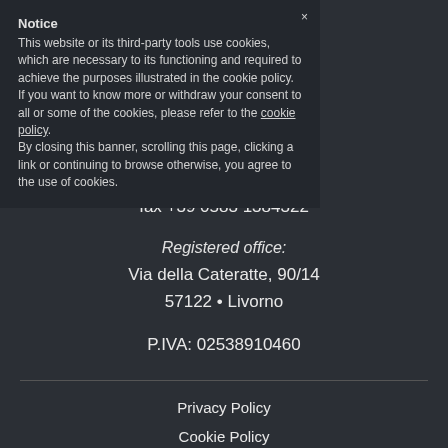Notice
This website or its third-party tools use cookies, which are necessary to its functioning and required to achieve the purposes illustrated in the cookie policy. If you want to know more or withdraw your consent to all or some of the cookies, please refer to the cookie policy.
By closing this banner, scrolling this page, clicking a link or continuing to browse otherwise, you agree to the use of cookies.
tel. +39 0583 77252
fax +39 0583 1384322
Registered office:
Via della Cateratte, 90/14
57122 • Livorno
P.IVA: 02538910460
Privacy Policy
Cookie Policy